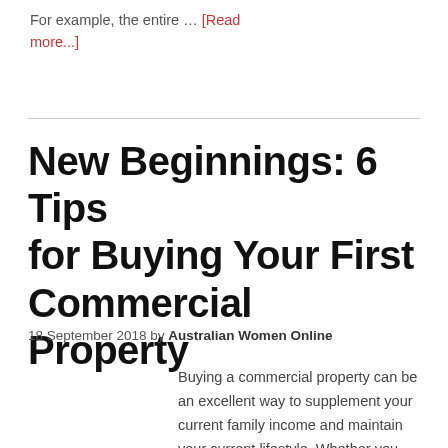For example, the entire … [Read more...]
New Beginnings: 6 Tips for Buying Your First Commercial Property
18 September 2018 by Australian Women Online
Buying a commercial property can be an excellent way to supplement your current family income and maintain your current lifestyle. Whether you are